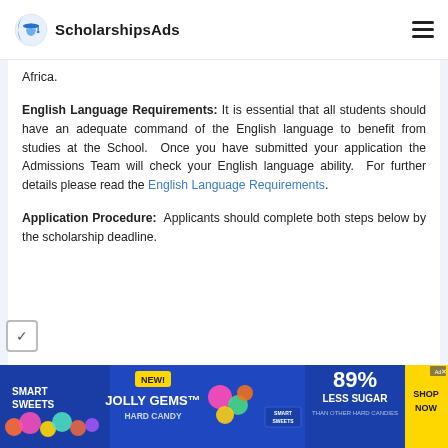ScholarshipsAds
Africa.
English Language Requirements: It is essential that all students should have an adequate command of the English language to benefit from studies at the School. Once you have submitted your application the Admissions Team will check your English language ability. For further details please read the English Language Requirements.
Application Procedure: Applicants should complete both steps below by the scholarship deadline.
[Figure (photo): Smart Sweets advertisement banner featuring Jolly Gems hard candy with 89% less sugar claim and Shop Now button]